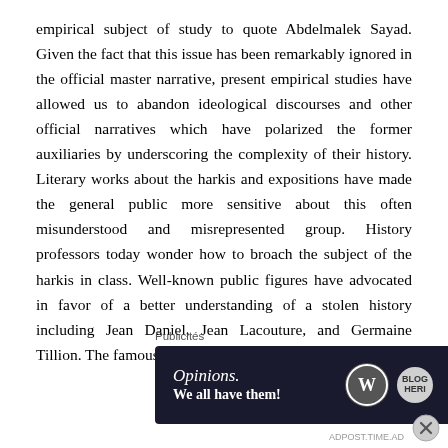empirical subject of study to quote Abdelmalek Sayad. Given the fact that this issue has been remarkably ignored in the official master narrative, present empirical studies have allowed us to abandon ideological discourses and other official narratives which have polarized the former auxiliaries by underscoring the complexity of their history. Literary works about the harkis and expositions have made the general public more sensitive about this often misunderstood and misrepresented group. History professors today wonder how to broach the subject of the harkis in class. Well-known public figures have advocated in favor of a better understanding of a stolen history including Jean Daniel, Jean Lacouture, and Germaine Tillion. The famous ethnographer, who joined the Frenc
[Figure (other): Advertisement banner with dark navy background reading 'Opinions. We all have them!' with WordPress logo and another circular logo icon. Labeled 'Publicités' above.]